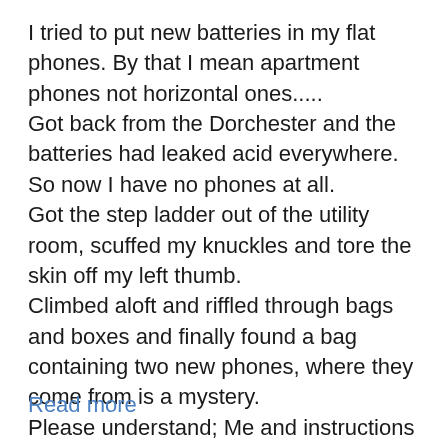I tried to put new batteries in my flat phones. By that I mean apartment phones not horizontal ones.....
Got back from the Dorchester and the batteries had leaked acid everywhere. So now I have no phones at all.
Got the step ladder out of the utility room, scuffed my knuckles and tore the skin off my left thumb.
Climbed aloft and riffled through bags and boxes and finally found a bag containing two new phones, where they come from is a mystery.
Please understand; Me and instructions are not happy bed fellows. Normally the ‘oosbind would read the small print and I would take advantage. Tonight though I was on my own....
Read more